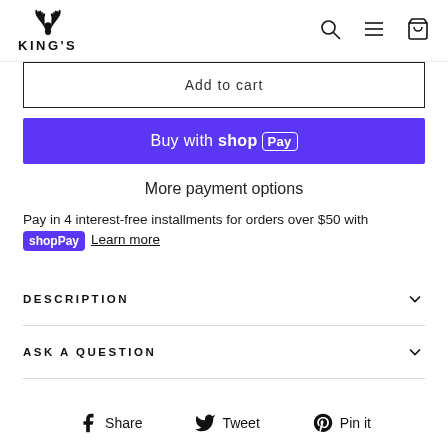KING'S
Add to cart
[Figure (other): Buy with Shop Pay button (purple)]
More payment options
Pay in 4 interest-free installments for orders over $50 with shopPay Learn more
DESCRIPTION
ASK A QUESTION
Share  Tweet  Pin it